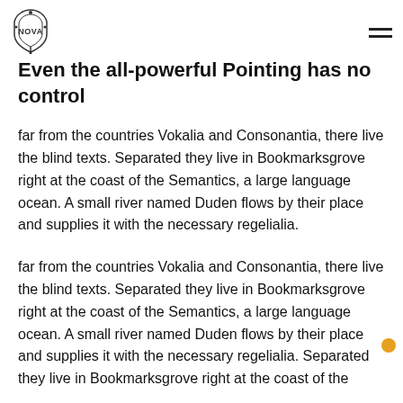NOVA logo and hamburger menu
Even the all-powerful Pointing has no control
far from the countries Vokalia and Consonantia, there live the blind texts. Separated they live in Bookmarksgrove right at the coast of the Semantics, a large language ocean. A small river named Duden flows by their place and supplies it with the necessary regelialia.
far from the countries Vokalia and Consonantia, there live the blind texts. Separated they live in Bookmarksgrove right at the coast of the Semantics, a large language ocean. A small river named Duden flows by their place and supplies it with the necessary regelialia. Separated they live in Bookmarksgrove right at the coast of the